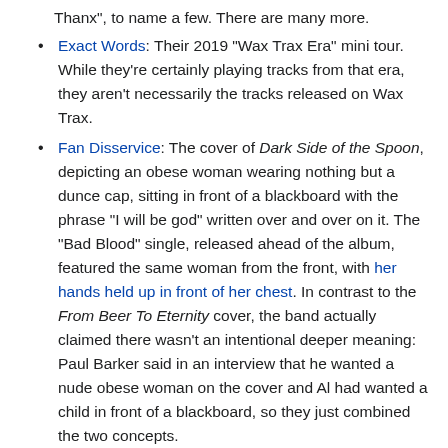Thanx", to name a few. There are many more.
Exact Words: Their 2019 "Wax Trax Era" mini tour. While they're certainly playing tracks from that era, they aren't necessarily the tracks released on Wax Trax.
Fan Disservice: The cover of Dark Side of the Spoon, depicting an obese woman wearing nothing but a dunce cap, sitting in front of a blackboard with the phrase "I will be god" written over and over on it. The "Bad Blood" single, released ahead of the album, featured the same woman from the front, with her hands held up in front of her chest. In contrast to the From Beer To Eternity cover, the band actually claimed there wasn't an intentional deeper meaning: Paul Barker said in an interview that he wanted a nude obese woman on the cover and Al had wanted a child in front of a blackboard, so they just combined the two concepts.
Genre Shift:
From Synth-Pop to industrial for Twitch, and